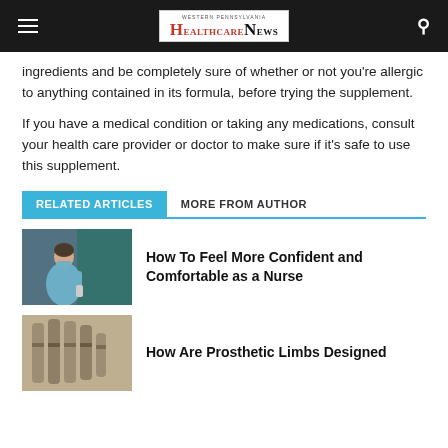Western Pennsylvania HealthcareNews
ingredients and be completely sure of whether or not you're allergic to anything contained in its formula, before trying the supplement.
If you have a medical condition or taking any medications, consult your health care provider or doctor to make sure if it's safe to use this supplement.
RELATED ARTICLES   MORE FROM AUTHOR
[Figure (photo): Nurse in scrubs and mask holding equipment in medical setting]
How To Feel More Confident and Comfortable as a Nurse
[Figure (photo): Prosthetic limb or hand design close-up]
How Are Prosthetic Limbs Designed